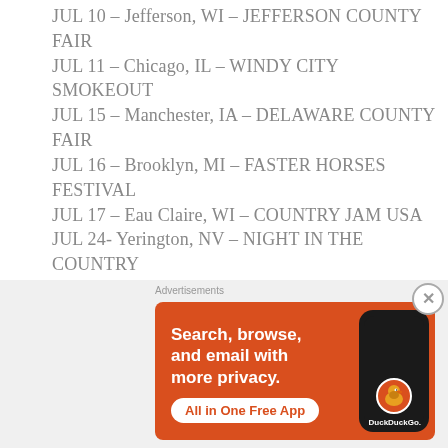JUL 10 – Jefferson, WI – JEFFERSON COUNTY FAIR
JUL 11 – Chicago, IL – WINDY CITY SMOKEOUT
JUL 15 – Manchester, IA – DELAWARE COUNTY FAIR
JUL 16 – Brooklyn, MI – FASTER HORSES FESTIVAL
JUL 17 – Eau Claire, WI – COUNTRY JAM USA
JUL 24- Yerington, NV – NIGHT IN THE COUNTRY
AUG 1 – George, WA – WATERSHED FESTIVAL
AUG 14 – Richmond, VA – MEADOW EVENT PARK
AUG 21 – Wildwood, NJ – BAREFOOT COUNTRY MUSIC FEST
AUG 28 – Palmer, AK – ALASKA STATE FAIR
AUG 30 – Salem, OR – OREGON STATE FAIR
[Figure (infographic): DuckDuckGo advertisement banner: Search, browse, and email with more privacy. All in One Free App. Orange background with phone mockup showing DuckDuckGo logo.]